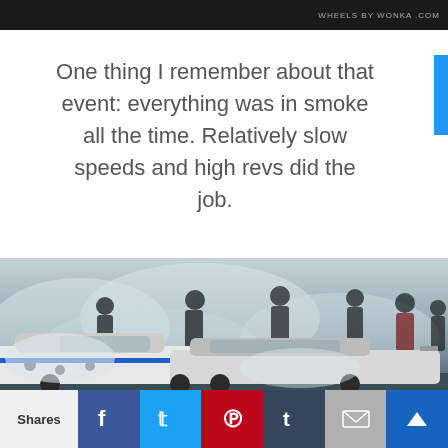WHEELS BY WONKA .COM
One thing I remember about that event: everything was in smoke all the time. Relatively slow speeds and high revs did the job.
[Figure (photo): Racing cars drifting with smoke filling the air, silhouettes of spectators standing in the smoky background watching the cars.]
Shares | Facebook | Twitter | Pinterest | Tumblr | Email | Crown